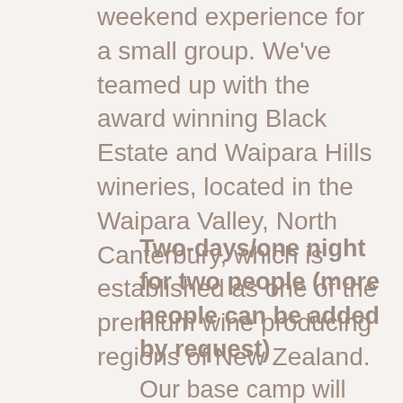weekend experience for a small group. We've teamed up with the award winning Black Estate and Waipara Hills wineries, located in the Waipara Valley, North Canterbury, which is established as one of the premium wine producing regions of New Zealand.
Two-days/one night for two people (more people can be added by request)
Our base camp will pick you up from